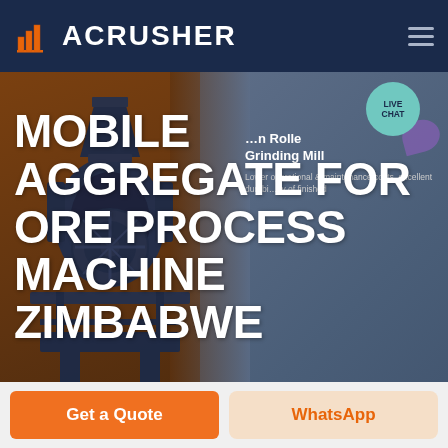[Figure (screenshot): ACRUSHER website header with orange building logo on dark navy background and hamburger menu icon]
MOBILE AGGREGATE FOR ORE PROCESS MACHINE ZIMBABWE
[Figure (photo): Industrial ore processing machine silhouette on brown/gold background with slate-blue right panel showing product card text: Roller Grinding Mill, Lower operational & maintenance costs, excellent durability of finished]
LIVE CHAT
HOME / PRODUCTS
Get a Quote
WhatsApp